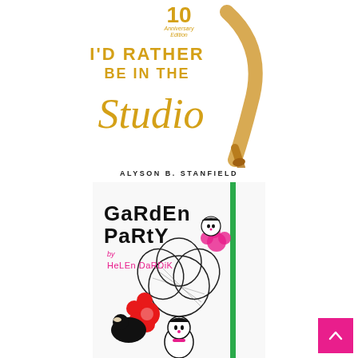[Figure (illustration): Book cover: '10th Anniversary Edition - I'd Rather Be in the Studio' by Alyson B. Stanfield. Gold script and serif text with a paintbrush stroke on white background.]
ALYSON B. STANFIELD
[Figure (illustration): Notebook/journal cover: 'Garden Party by Helen Dardik' — black and white ink illustration of stylized girls, birds, and flowers with pink and red accents, green elastic band closure.]